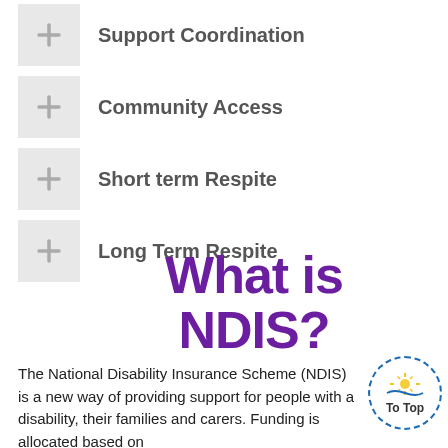Support Coordination
Community Access
Short term Respite
Long Term Respite
What is NDIS?
The National Disability Insurance Scheme (NDIS) is a new way of providing support for people with a disability, their families and carers. Funding is allocated based on
[Figure (logo): To Top circular badge with dashed blue border and sun/wave illustration]